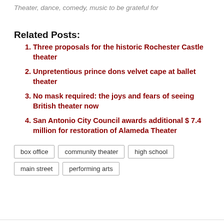Theater, dance, comedy, music to be grateful for
Related Posts:
Three proposals for the historic Rochester Castle theater
Unpretentious prince dons velvet cape at ballet theater
No mask required: the joys and fears of seeing British theater now
San Antonio City Council awards additional $ 7.4 million for restoration of Alameda Theater
box office   community theater   high school   main street   performing arts